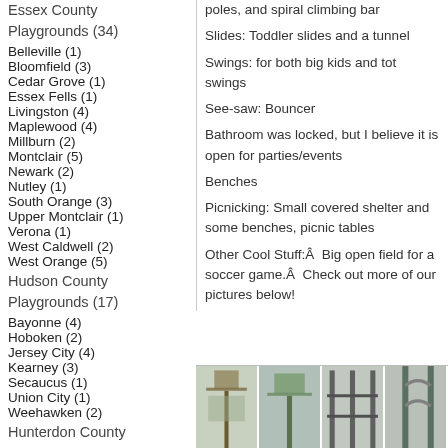Essex County Playgrounds (34)
Belleville (1)
Bloomfield (3)
Cedar Grove (1)
Essex Fells (1)
Livingston (4)
Maplewood (4)
Millburn (2)
Montclair (5)
Newark (2)
Nutley (1)
South Orange (3)
Upper Montclair (1)
Verona (1)
West Caldwell (2)
West Orange (5)
Hudson County Playgrounds (17)
Bayonne (4)
Hoboken (2)
Jersey City (4)
Kearney (3)
Secaucus (1)
Union City (1)
Weehawken (2)
Hunterdon County
poles, and spiral climbing bar
Slides: Toddler slides and a tunnel
Swings: for both big kids and tot swings
See-saw: Bouncer
Bathroom was locked, but I believe it is open for parties/events
Benches
Picnicking: Small covered shelter and some benches, picnic tables
Other Cool Stuff:Â  Big open field for a soccer game.Â  Check out more of our pictures below!
[Figure (photo): Four playground photos shown in a horizontal strip at the bottom of the page]